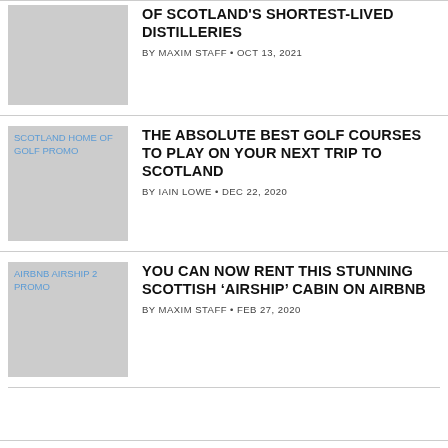[Figure (photo): Placeholder thumbnail image (gray box)]
OF SCOTLAND'S SHORTEST-LIVED DISTILLERIES
BY MAXIM STAFF • OCT 13, 2021
[Figure (photo): SCOTLAND HOME OF GOLF PROMO]
THE ABSOLUTE BEST GOLF COURSES TO PLAY ON YOUR NEXT TRIP TO SCOTLAND
BY IAIN LOWE • DEC 22, 2020
[Figure (photo): AIRBNB AIRSHIP 2 PROMO]
YOU CAN NOW RENT THIS STUNNING SCOTTISH 'AIRSHIP' CABIN ON AIRBNB
BY MAXIM STAFF • FEB 27, 2020
[Figure (photo): HAMPDEN RUM BURNS NIGHT PROMO]
WHY THIS JAMAICAN RUM IS THE PERFECT BOTTLE FOR BURNS NIGHT, SCOTLAND'S BOOZIEST CELEBRATION